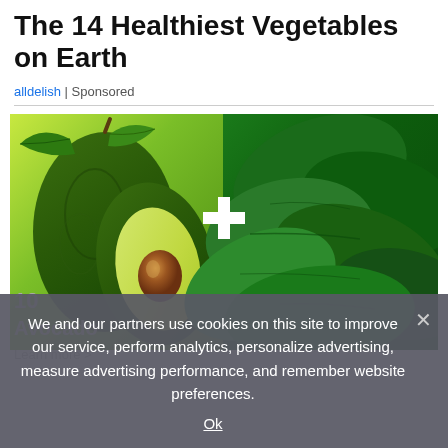The 14 Healthiest Vegetables on Earth
alldelish | Sponsored
[Figure (photo): Two-panel image: left panel shows avocados (whole and halved) on a green background, right panel shows fresh spinach leaves. A large white plus symbol is overlaid in the center between the two images.]
10
Avocado
Learn more
We and our partners use cookies on this site to improve our service, perform analytics, personalize advertising, measure advertising performance, and remember website preferences.
Ok